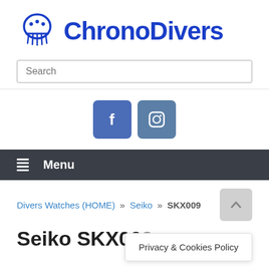[Figure (logo): ChronoDivers jellyfish logo with blue jellyfish icon and 'ChronoDivers' text in bold blue]
Search
[Figure (infographic): Facebook and Instagram social media icon buttons]
Menu
Divers Watches (HOME) » Seiko » SKX009
Seiko SKX009
Privacy & Cookies Policy